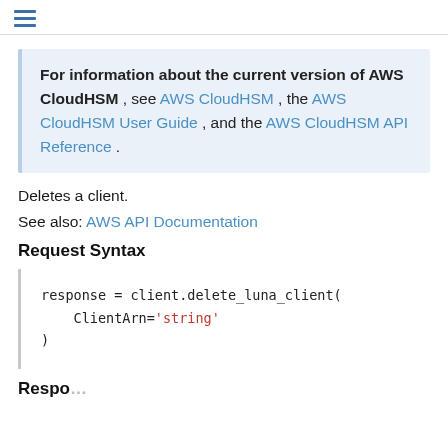≡
For information about the current version of AWS CloudHSM , see AWS CloudHSM , the AWS CloudHSM User Guide , and the AWS CloudHSM API Reference .
Deletes a client.
See also: AWS API Documentation
Request Syntax
response = client.delete_luna_client(
    ClientArn='string'
)
Response